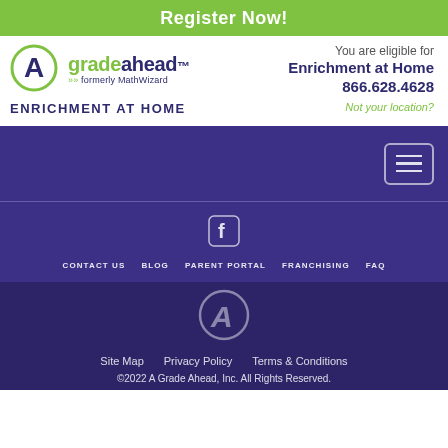Register Now!
[Figure (logo): A Grade Ahead logo - formerly MathWizard]
ENRICHMENT AT HOME
You are eligible for
Enrichment at Home
866.628.4628
Not your location?
[Figure (other): Navigation hamburger menu button]
[Figure (other): Facebook icon]
CONTACT US   BLOG   PARENT PORTAL   FRANCHISING   FAQ
[Figure (logo): A Grade Ahead A logo mark]
Site Map   Privacy Policy   Terms & Conditions
©2022 A Grade Ahead, Inc. All Rights Reserved.